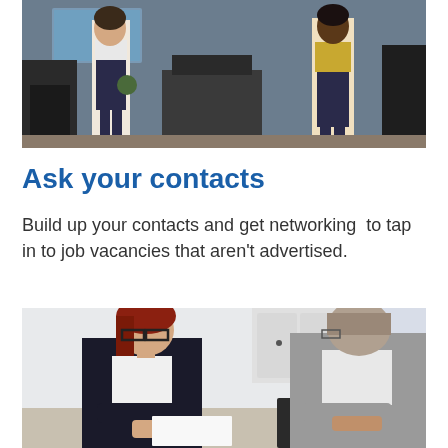[Figure (photo): Two people standing in an office environment, one in a dark skirt and one in a yellow top, with office chairs and a map on the wall in the background.]
Ask your contacts
Build up your contacts and get networking  to tap in to job vacancies that aren't advertised.
[Figure (photo): Two professionals sitting at a desk reviewing documents together. A woman with red hair and glasses wearing a dark blazer is across from a man in a grey suit.]